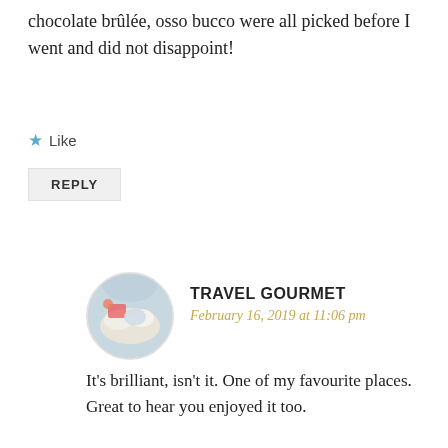chocolate brûlée, osso bucco were all picked before I went and did not disappoint!
Like
REPLY
[Figure (photo): Circular avatar photo of a restaurant table with dishes and glasses]
TRAVEL GOURMET
February 16, 2019 at 11:06 pm
It's brilliant, isn't it. One of my favourite places. Great to hear you enjoyed it too.
Like
REPLY